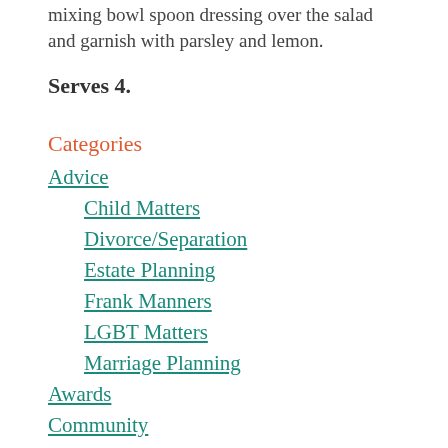mixing bowl spoon dressing over the salad and garnish with parsley and lemon.
Serves 4.
Categories
Advice
Child Matters
Divorce/Separation
Estate Planning
Frank Manners
LGBT Matters
Marriage Planning
Awards
Community
Culture